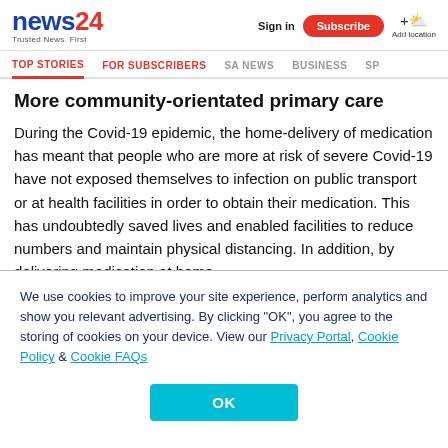news24 Trusted News. First | Sign in | Subscribe | Add location
TOP STORIES | FOR SUBSCRIBERS | SA NEWS | BUSINESS | SP
More community-orientated primary care
During the Covid-19 epidemic, the home-delivery of medication has meant that people who are more at risk of severe Covid-19 have not exposed themselves to infection on public transport or at health facilities in order to obtain their medication. This has undoubtedly saved lives and enabled facilities to reduce numbers and maintain physical distancing. In addition, by delivering medication at home
We use cookies to improve your site experience, perform analytics and show you relevant advertising. By clicking "OK", you agree to the storing of cookies on your device. View our Privacy Portal, Cookie Policy & Cookie FAQs
OK